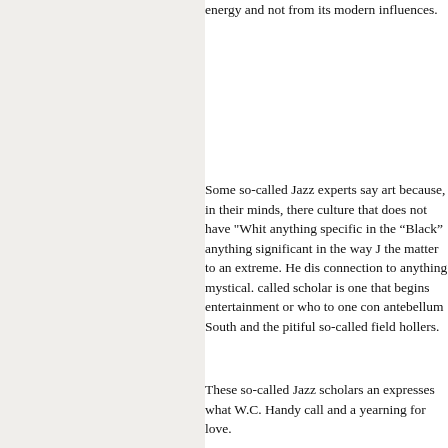energy and not from its modern influences.
Some so-called Jazz experts say art because, in their minds, there culture that does not have "Whit anything specific in the “Black” anything significant in the way J the matter to an extreme. He dis connection to anything mystical. called scholar is one that begins entertainment or who to one con antebellum South and the pitul so-called field hollers.
These so-called Jazz scholars an expresses what W.C. Handy call and a yearning for love.